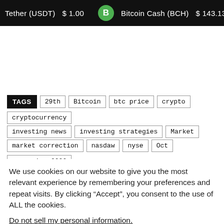Tether (USDT) $1.00   Bitcoin Cash (BCH) $143.13
TAGS: 29th, Bitcoin, btc price, crypto, cryptocurrency, investing news, investing strategies, Market, market correction, nasdaw, nyse, Oct, recession 2020
We use cookies on our website to give you the most relevant experience by remembering your preferences and repeat visits. By clicking “Accept”, you consent to the use of ALL the cookies.
Do not sell my personal information.
Cookie settings   ACCEPT